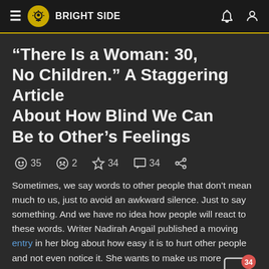BRIGHT SIDE
“There Is a Woman: 30, No Children.” A Staggering Article About How Blind We Can Be to Other’s Feelings
☺ 35   ☹ 2   ☆ 34   ☐ 34   share
Sometimes, we say words to other people that don’t mean much to us, just to avoid an awkward silence. Just to say something. And we have no idea how people will react to these words. Writer Nadirah Angail published a moving entry in her blog about how easy it is to hurt other people and not even notice it. She wants to make us more attentive and sensitive.